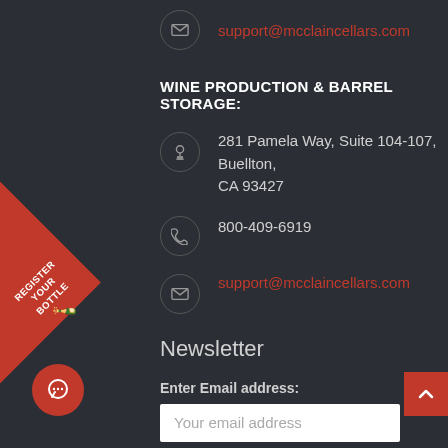support@mcclaincellars.com
WINE PRODUCTION & BARREL STORAGE:
281 Pamela Way, Suite 104-107, Buellton, CA 93427
800-409-6919
support@mcclaincellars.com
Newsletter
Enter Email address:
Your email address